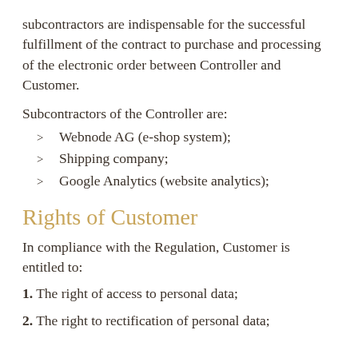subcontractors are indispensable for the successful fulfillment of the contract to purchase and processing of the electronic order between Controller and Customer.
Subcontractors of the Controller are:
Webnode AG (e-shop system);
Shipping company;
Google Analytics (website analytics);
Rights of Customer
In compliance with the Regulation, Customer is entitled to:
1. The right of access to personal data;
2. The right to rectification of personal data;